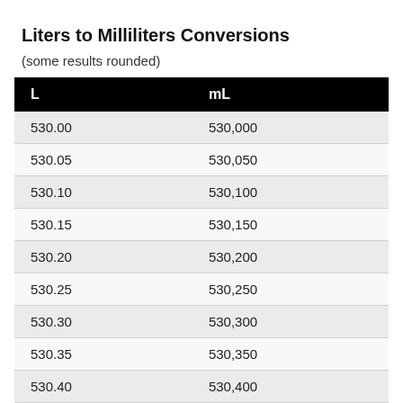Liters to Milliliters Conversions
(some results rounded)
| L | mL |
| --- | --- |
| 530.00 | 530,000 |
| 530.05 | 530,050 |
| 530.10 | 530,100 |
| 530.15 | 530,150 |
| 530.20 | 530,200 |
| 530.25 | 530,250 |
| 530.30 | 530,300 |
| 530.35 | 530,350 |
| 530.40 | 530,400 |